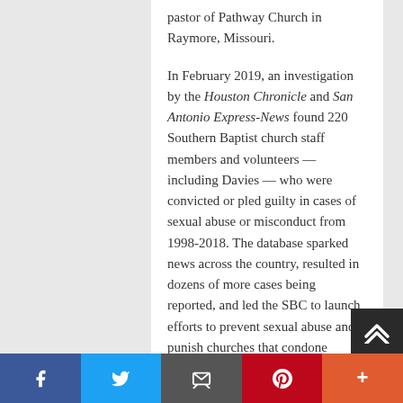pastor of Pathway Church in Raymore, Missouri.
In February 2019, an investigation by the Houston Chronicle and San Antonio Express-News found 220 Southern Baptist church staff members and volunteers — including Davies — who were convicted or pled guilty in cases of sexual abuse or misconduct from 1998-2018. The database sparked news across the country, resulted in dozens of more cases being reported, and led the SBC to launch efforts to prevent sexual abuse and punish churches that condone leaders guilty of sexual abuse. On Feb